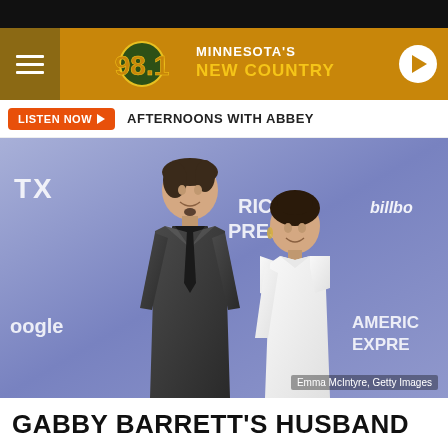[Figure (screenshot): Radio station header bar with 98.1 Minnesota's New Country logo, hamburger menu on left, play button on right, and orange background]
LISTEN NOW ▶  AFTERNOONS WITH ABBEY
[Figure (photo): A couple (man in dark suit, woman in white dress) posing at a Billboard/American Express event on a purple step-and-repeat backdrop. Photo credit: Emma McIntyre, Getty Images]
Emma McIntyre, Getty Images
GABBY BARRETT'S HUSBAND